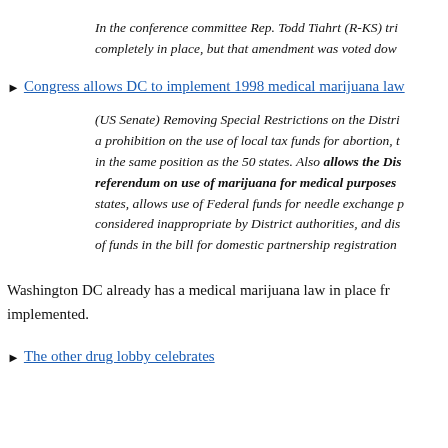In the conference committee Rep. Todd Tiahrt (R-KS) tried to keep the ban completely in place, but that amendment was voted down.
Congress allows DC to implement 1998 medical marijuana law
(US Senate) Removing Special Restrictions on the District including a prohibition on the use of local tax funds for abortion, to put DC in the same position as the 50 states. Also allows the District to count the referendum on use of marijuana for medical purposes like other states, allows use of Federal funds for needle exchange programs considered inappropriate by District authorities, and disallows the use of funds in the bill for domestic partnership registration.
Washington DC already has a medical marijuana law in place from 1998 but it was never implemented.
The other drug lobby celebrates